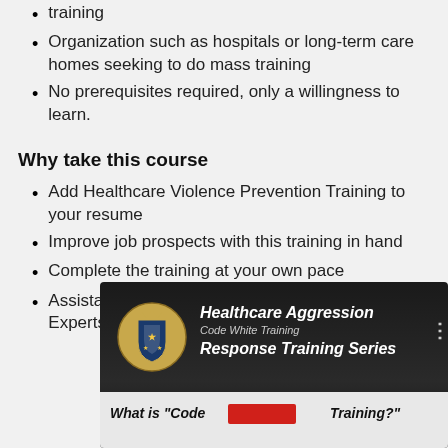training
Organization such as hospitals or long-term care homes seeking to do mass training
No prerequisites required, only a willingness to learn.
Why take this course
Add Healthcare Violence Prevention Training to your resume
Improve job prospects with this training in hand
Complete the training at your own pace
Assistance is available from Subject Matter Experts via email
[Figure (screenshot): Video thumbnail showing 'Healthcare Aggression Code White Training Response Training Series' with a crest/logo on the left and 'What is "Code [red block] Training?"' text at the bottom]